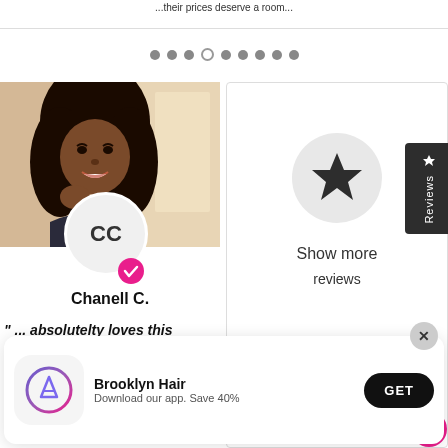...their prices deserve a room...
[Figure (screenshot): Pagination dots row, 9 dots with 4th one empty/outlined]
[Figure (photo): Profile photo of Chanell C., woman with long black hair]
CC
[Figure (illustration): Pink checkmark verification badge]
Chanell C.
" ... absolutelty loves this
[Figure (illustration): Star icon inside a grey circle in the right panel, with Show more reviews text]
Show more
reviews
[Figure (infographic): Reviews vertical tab on the right side]
[Figure (screenshot): App install banner: Brooklyn Hair app, Download our app. Save 40%, GET button]
Brooklyn Hair
Download our app. Save 40%